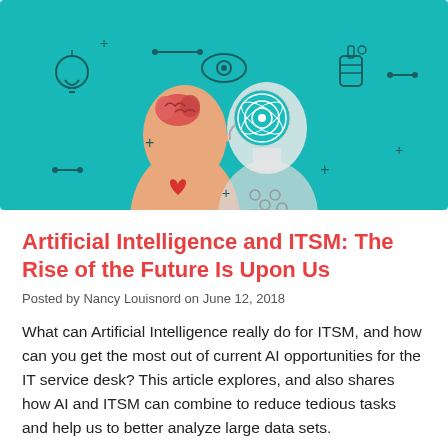[Figure (illustration): Teal/turquoise background illustration showing a human figure (with a pink brain visible inside the head and a red heart on the chest) facing a robot/AI figure (with a circular circuit pattern inside the head). Surrounding both figures are various icons: a lightbulb, an eye, a robotic hand, a gear/cog, brackets, connector symbols, and plus signs, all drawn in a dark outline style on the teal background.]
Artificial Intelligence and ITSM: The Rise of the Future Is Upon Us
Posted by Nancy Louisnord on June 12, 2018
What can Artificial Intelligence really do for ITSM, and how can you get the most out of current AI opportunities for the IT service desk? This article explores, and also shares how AI and ITSM can combine to reduce tedious tasks and help us to better analyze large data sets.